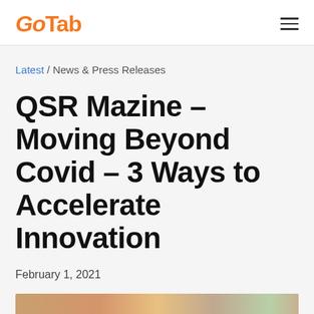GoTab
Latest / News & Press Releases
QSR Mazine – Moving Beyond Covid – 3 Ways to Accelerate Innovation
February 1, 2021
[Figure (photo): Partial image strip of food/restaurant scene at bottom of page]